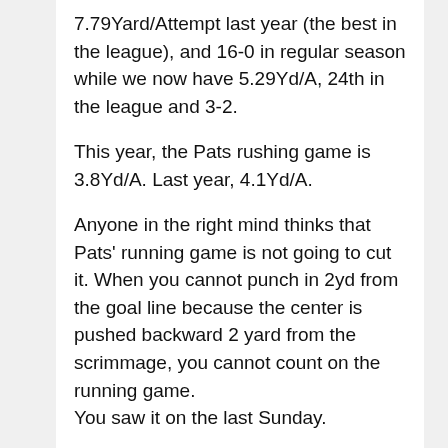7.79Yard/Attempt last year (the best in the league), and 16-0 in regular season while we now have 5.29Yd/A, 24th in the league and 3-2.
This year, the Pats rushing game is 3.8Yd/A. Last year, 4.1Yd/A.
Anyone in the right mind thinks that Pats' running game is not going to cut it. When you cannot punch in 2yd from the goal line because the center is pushed backward 2 yard from the scrimmage, you cannot count on the running game.
You saw it on the last Sunday.
Last Giants [14]/Browns [35] game